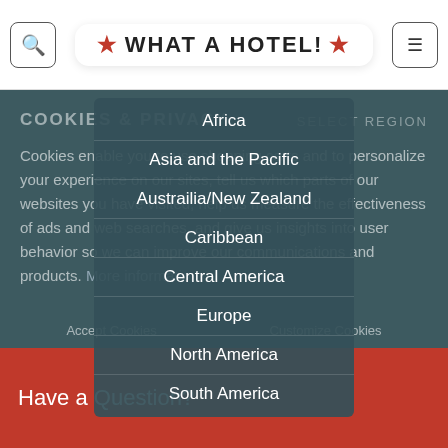What a Hotel!
COOKIES & PRIVACY
SELECT REGION
Cookies enable you to use shopping carts and to personalize your experience on our sites, tell us which parts of our websites you have visited, help us measure the effectiveness of ads and web searches, and give us insights into user behavior so we can improve our communications and products. More information
Africa
Asia and the Pacific
Austrailia/New Zealand
Caribbean
Central America
Europe
North America
South America
Accept Cookies    Customize Cookies
Have a Question?